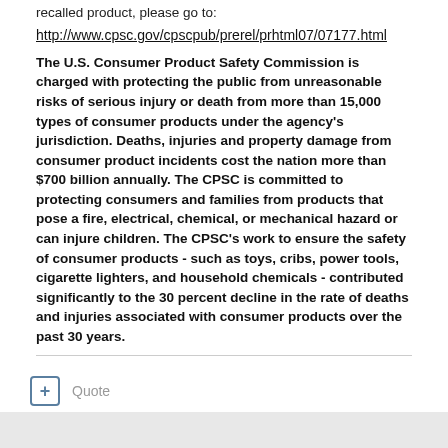recalled product, please go to:
http://www.cpsc.gov/cpscpub/prerel/prhtml07/07177.html
The U.S. Consumer Product Safety Commission is charged with protecting the public from unreasonable risks of serious injury or death from more than 15,000 types of consumer products under the agency's jurisdiction. Deaths, injuries and property damage from consumer product incidents cost the nation more than $700 billion annually. The CPSC is committed to protecting consumers and families from products that pose a fire, electrical, chemical, or mechanical hazard or can injure children. The CPSC's work to ensure the safety of consumer products - such as toys, cribs, power tools, cigarette lighters, and household chemicals - contributed significantly to the 30 percent decline in the rate of deaths and injuries associated with consumer products over the past 30 years.